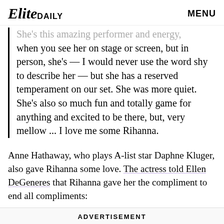Elite Daily | MENU
She's this amazing performer and energy, when you see her on stage or screen, but in person, she's — I would never use the word shy to describe her — but she has a reserved temperament on our set. She was more quiet. She's also so much fun and totally game for anything and excited to be there, but, very mellow ... I love me some Rihanna.
Anne Hathaway, who plays A-list star Daphne Kluger, also gave Rihanna some love. The actress told Ellen DeGeneres that Rihanna gave her the compliment to end all compliments:
ADVERTISEMENT